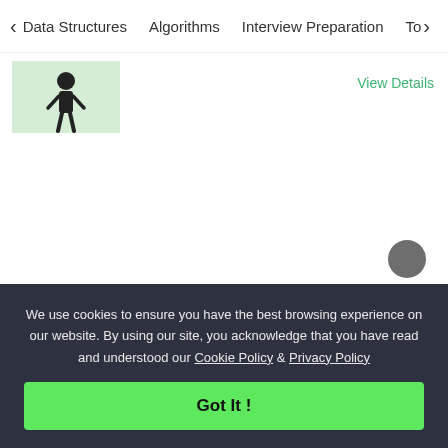< Data Structures   Algorithms   Interview Preparation   To>
[Figure (illustration): Thumbnail image showing a person figure on a light green background]
View Details
We use cookies to ensure you have the best browsing experience on our website. By using our site, you acknowledge that you have read and understood our Cookie Policy & Privacy Policy
Got It !